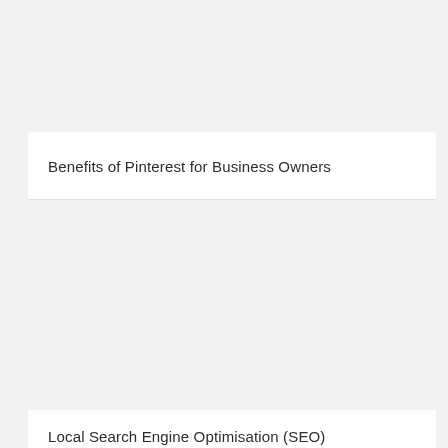Benefits of Pinterest for Business Owners
Local Search Engine Optimisation (SEO)